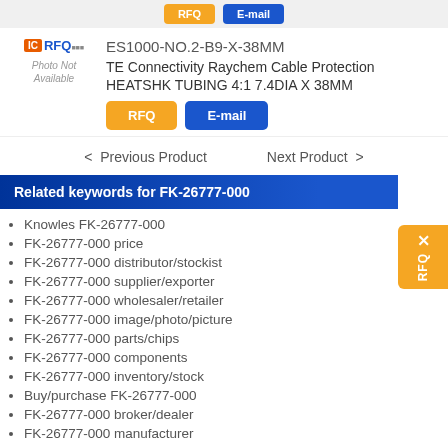[Figure (screenshot): Top navigation bar with RFQ and E-mail buttons]
[Figure (logo): IC RFQ logo with Photo Not Available placeholder]
ES1000-NO.2-B9-X-38MM
TE Connectivity Raychem Cable Protection
HEATSHK TUBING 4:1 7.4DIA X 38MM
< Previous Product    Next Product >
Related keywords for FK-26777-000
Knowles FK-26777-000
FK-26777-000 price
FK-26777-000 distributor/stockist
FK-26777-000 supplier/exporter
FK-26777-000 wholesaler/retailer
FK-26777-000 image/photo/picture
FK-26777-000 parts/chips
FK-26777-000 components
FK-26777-000 inventory/stock
Buy/purchase FK-26777-000
FK-26777-000 broker/dealer
FK-26777-000 manufacturer